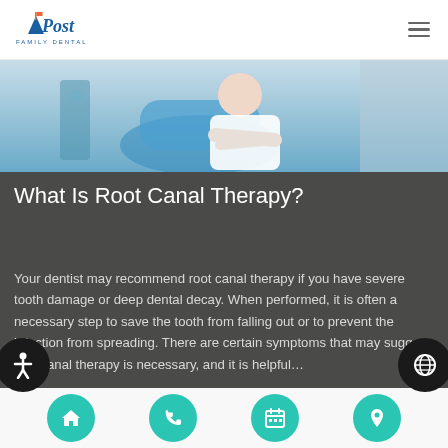Post Family Dental
[Figure (photo): Dental office photo showing a dentist or patient in a blue dental chair with a white coat, clinical setting]
What Is Root Canal Therapy?
Your dentist may recommend root canal therapy if you have severe tooth damage or deep dental decay. When performed, it is often a necessary step to save the tooth from falling out or to prevent the infection from spreading. There are certain symptoms that may suggest root canal therapy is necessary, and it is helpful…
[Figure (photo): Partial second article photo, bottom of page]
Navigation icons: home, phone, calendar, location